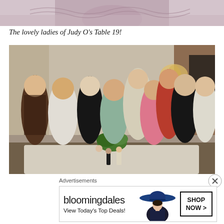[Figure (photo): Partial top photo showing a decorative scene, cropped at top of page]
The lovely ladies of Judy O's Table 19!
[Figure (photo): Group photo of nine women dressed in elegant attire standing and posing around a table decorated with floral centerpieces and small figurines in a banquet hall setting]
Advertisements
[Figure (infographic): Bloomingdales advertisement banner showing the Bloomingdales logo, text 'View Today's Top Deals!', an image of a woman wearing a large blue hat, and a 'SHOP NOW >' button]